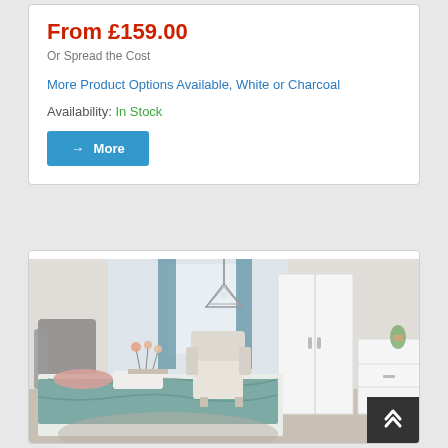From £159.00
Or Spread the Cost
More Product Options Available, White or Charcoal
Availability: In Stock
→ More
[Figure (photo): Bedroom scene showing a white two-door wardrobe, chest of drawers, grey upholstered bed with teal bedding, an armchair, and pendant light fixture]